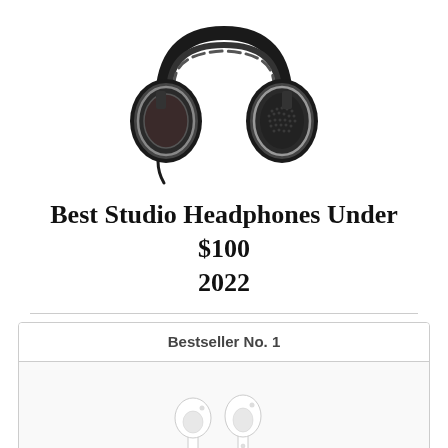[Figure (photo): Black over-ear studio headphones viewed from the front, with cushioned ear cups and headband, against a white background.]
Best Studio Headphones Under $100 2022
| Bestseller No. 1 |
| --- |
| [Apple AirPods image] |
[Figure (photo): Apple AirPods (white wireless earbuds) shown on a light grey background inside a table cell.]